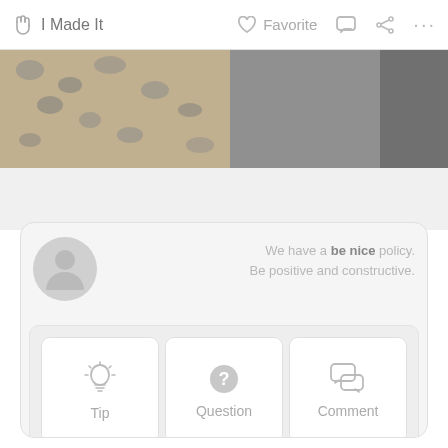I Made It   Favorite   ...
[Figure (photo): Partial image showing leopard print fabric and wood texture, cropped at top of screen]
We have a be nice policy.
Be positive and constructive.
[Figure (illustration): Gray user avatar silhouette icon]
Tip
Question
Comment
Add Images
Post